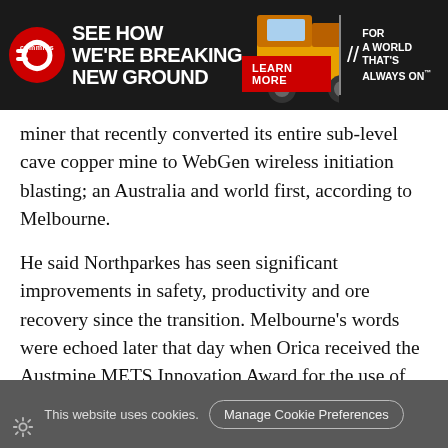[Figure (advertisement): Cummins advertisement banner with dark background. Left side shows Cummins logo and bold white text 'SEE HOW WE'RE BREAKING NEW GROUND'. Center shows a large yellow mining dump truck. A red 'LEARN MORE' button. Right side shows text 'FOR A WORLD THAT'S ALWAYS ON' with double slash marks.]
miner that recently converted its entire sub-level cave copper mine to WebGen wireless initiation blasting; an Australia and world first, according to Melbourne.
He said Northparkes has seen significant improvements in safety, productivity and ore recovery since the transition. Melbourne's words were echoed later that day when Orica received the Austmine METS Innovation Award for the use of WebGen at Northparkes.
Melbourne pointed to a second collaborative development that was helping shape the company's blast automation efforts during his time on stage; this time with an original
This website uses cookies.   Manage Cookie Preferences